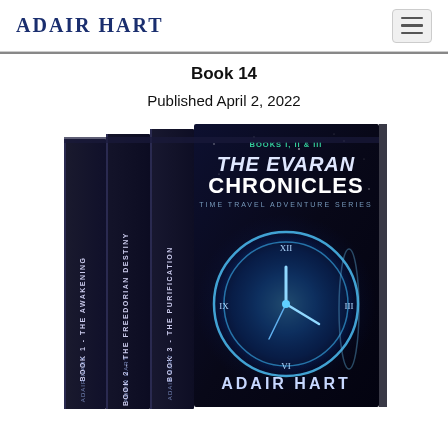Adair Hart
Book 14
Published April 2, 2022
[Figure (photo): Box set of 'The Evaran Chronicles' Books I, II & III by Adair Hart — a time travel adventure series. The box set shows three book spines (Book 1 - The Awakening, Book 2 - The Freedorian Destiny, Book 3 - The Purification) alongside a front cover featuring a glowing blue clock face and the title 'The Evaran Chronicles' in large futuristic text, with 'Adair Hart' at the bottom.]